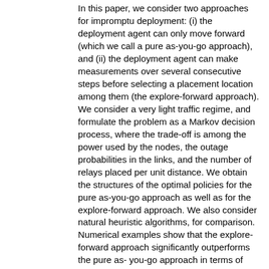In this paper, we consider two approaches for impromptu deployment: (i) the deployment agent can only move forward (which we call a pure as-you-go approach), and (ii) the deployment agent can make measurements over several consecutive steps before selecting a placement location among them (the explore-forward approach). We consider a very light traffic regime, and formulate the problem as a Markov decision process, where the trade-off is among the power used by the nodes, the outage probabilities in the links, and the number of relays placed per unit distance. We obtain the structures of the optimal policies for the pure as-you-go approach as well as for the explore-forward approach. We also consider natural heuristic algorithms, for comparison. Numerical examples show that the explore-forward approach significantly outperforms the pure as- you-go approach in terms of network cost. Next, we propose learning algorithms for the explore-forward approach and the pure as-you-go approach, based on single and two timescale Stochastic Approximation, which asymptotically converge to the set of optimal policies, without using any knowledge of the radio propagation model. We demonstrate numerically that the learning algorithms can converge (as deployment progresses) to the set of optimal policies reasonably fast and, hence, can be practical model-free algorithms for deployment over large regions. Finally, we demonstrate the